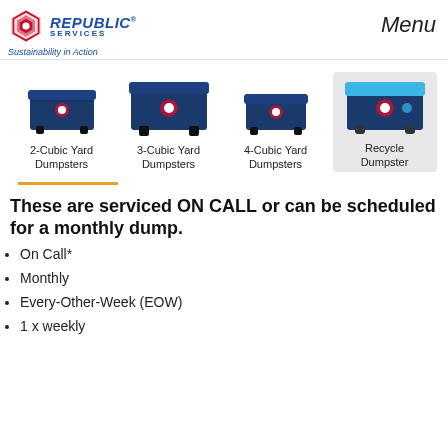Republic Services — Sustainability in Action | Menu
[Figure (photo): Four dumpsters shown side by side: 2-Cubic Yard Dumpster, 3-Cubic Yard Dumpster, 4-Cubic Yard Dumpster, and Recycle Dumpster (highlighted with gray background). All are dark blue except the Recycle Dumpster which has a blue lid.]
2-Cubic Yard Dumpsters | 3-Cubic Yard Dumpsters | 4-Cubic Yard Dumpsters | Recycle Dumpster
These are serviced ON CALL or can be scheduled for a monthly dump.
On Call*
Monthly
Every-Other-Week (EOW)
1 x weekly